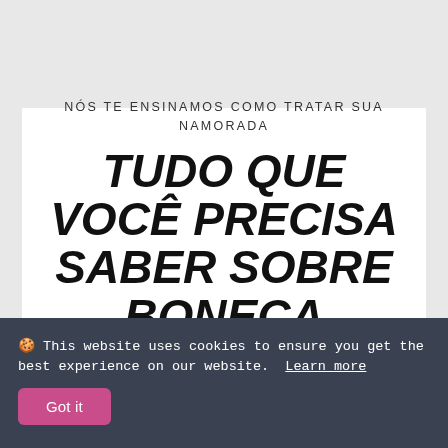NÓS TE ENSINAMOS COMO TRATAR SUA NAMORADA
TUDO QUE VOCÊ PRECISA SABER SOBRE BONECA SEXUAL
🍪 This website uses cookies to ensure you get the best experience on our website. Learn more
Got it